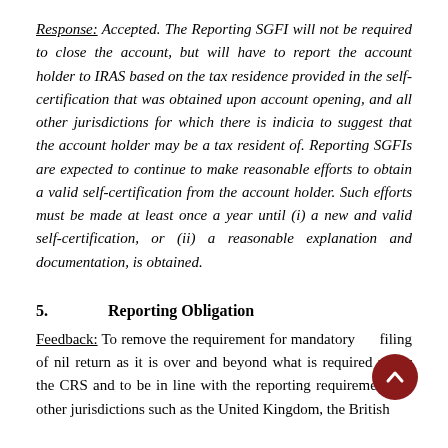Response: Accepted. The Reporting SGFI will not be required to close the account, but will have to report the account holder to IRAS based on the tax residence provided in the self-certification that was obtained upon account opening, and all other jurisdictions for which there is indicia to suggest that the account holder may be a tax resident of. Reporting SGFIs are expected to continue to make reasonable efforts to obtain a valid self-certification from the account holder. Such efforts must be made at least once a year until (i) a new and valid self-certification, or (ii) a reasonable explanation and documentation, is obtained.
5.    Reporting Obligation
Feedback: To remove the requirement for mandatory filing of nil return as it is over and beyond what is required under the CRS and to be in line with the reporting requirements of other jurisdictions such as the United Kingdom, the British